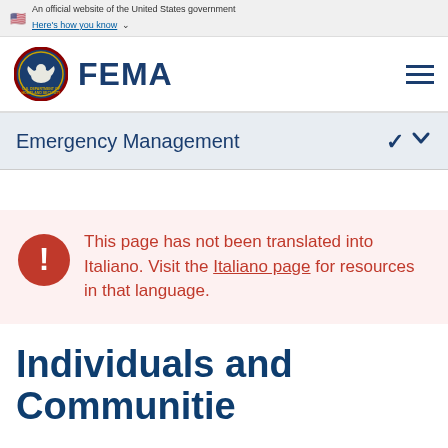An official website of the United States government Here's how you know
[Figure (logo): FEMA logo with DHS seal and FEMA wordmark]
Emergency Management
This page has not been translated into Italiano. Visit the Italiano page for resources in that language.
Individuals and Communities